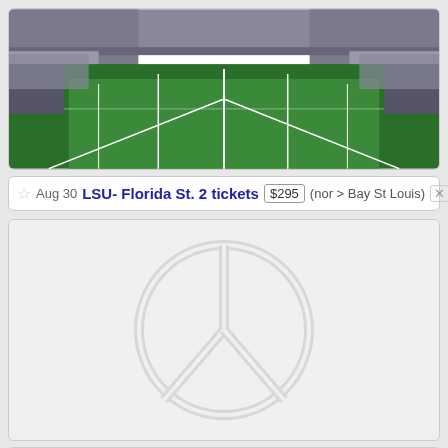[Figure (photo): Football stadium aerial view showing green field with white yard lines, empty seats in background]
☆ Aug 30  LSU- Florida St. 2 tickets  $295  (nor > Bay St Louis)  ✕
[Figure (photo): Light gray placeholder image with embossed peace sign symbol]
☆ Aug 30  Suicideboys Tickets  $60  (nor > UNO Lake Front Arena)